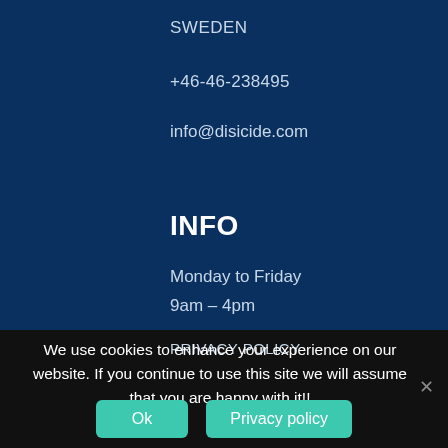SWEDEN
+46-46-238495
info@disicide.com
INFO
Monday to Friday
9am – 4pm
PRIVACY POLICY
We use cookies to enhance your experience on our website. If you continue to use this site we will assume that you are happy with it!!